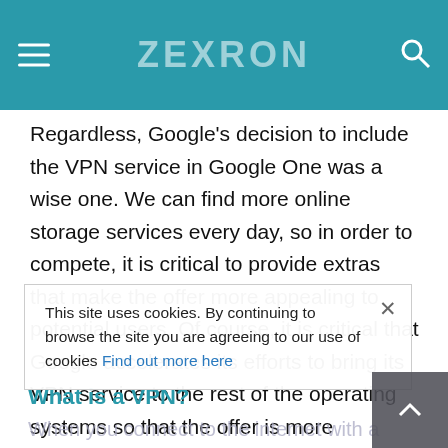ZEXRON
Regardless, Google's decision to include the VPN service in Google One was a wise one. We can find more online storage services every day, so in order to compete, it is critical to provide extras that make the offer more appealing to potential users. Of course, it is critical that Google accelerates its efforts to bring its VPN service to the rest of the operating systems so that the offer is more appealing to users.
What is a VPN?
This site uses cookies. By continuing to browse the site you are agreeing to our use of cookies Find out more here
When you connect to the internet with a VPN connection, this connection will also be made through one of the servers that the VPN providers in the world have. So, just like with a Proxy, your connection is going to be masked from